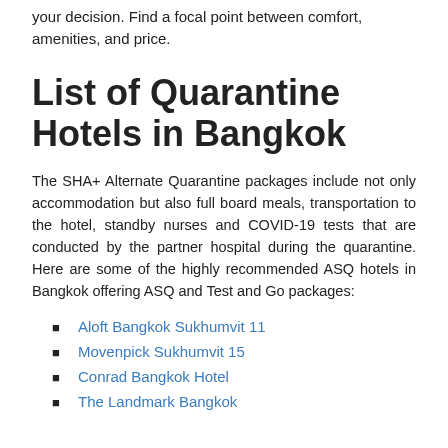your decision. Find a focal point between comfort, amenities, and price.
List of Quarantine Hotels in Bangkok
The SHA+ Alternate Quarantine packages include not only accommodation but also full board meals, transportation to the hotel, standby nurses and COVID-19 tests that are conducted by the partner hospital during the quarantine. Here are some of the highly recommended ASQ hotels in Bangkok offering ASQ and Test and Go packages:
Aloft Bangkok Sukhumvit 11
Movenpick Sukhumvit 15
Conrad Bangkok Hotel
The Landmark Bangkok